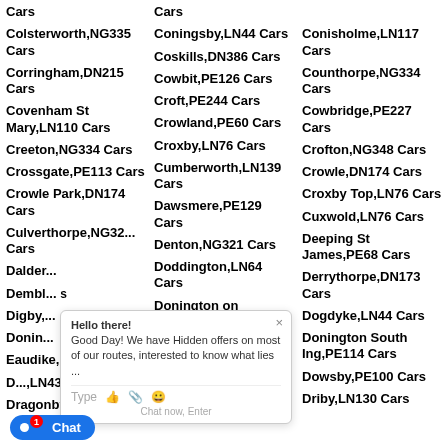Cars
Cars
Colsterworth,NG335 Cars
Coningsby,LN44 Cars
Conisholme,LN117 Cars
Corringham,DN215 Cars
Coskills,DN386 Cars
Counthorpe,NG334 Cars
Covenham St Mary,LN110 Cars
Cowbit,PE126 Cars
Cowbridge,PE227 Cars
Creeton,NG334 Cars
Croft,PE244 Cars
Crofton,NG348 Cars
Crossgate,PE113 Cars
Crowland,PE60 Cars
Crowle,DN174 Cars
Crowle Park,DN174 Cars
Croxby,LN76 Cars
Croxby Top,LN76 Cars
Culverthorpe,NG32... Cars
Cumberworth,LN139 Cars
Cuxwold,LN76 Cars
Dalder...
Dawsmere,PE129 Cars
Deeping St James,PE68 Cars
Dembl... Cars
Denton,NG321 Cars
Derrythorpe,DN173 Cars
Digby,...
Doddington,LN64 Cars
Dogdyke,LN44 Cars
Donin...
Donington on Bain,LN119 Cars
Donington South Ing,PE114 Cars
Eaudike,PE203 Cars
Dovendale,LN119 Cars
Dowsby,PE100 Cars
D...,LN43 Cars
Drayton,PE203 Cars
Driby,LN130 Cars
Dragonby,DN150 Cars